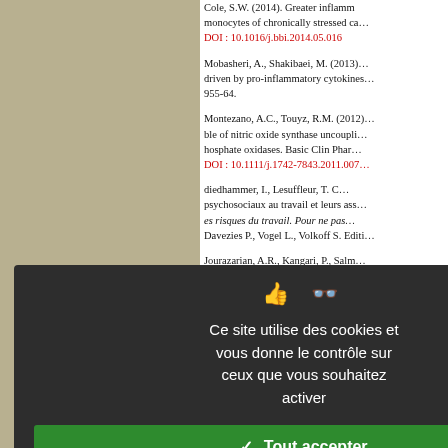Cole, S.W. (2014). Greater inflam... monocytes of chronically stressed ca... DOI : 10.1016/j.bbi.2014.05.016
Mobasheri, A., Shakibaei, M. (2013)... driven by pro-inflammatory cytokines... 955-64.
Montezano, A.C., Touyz, R.M. (2012)... ble of nitric oxide synthase uncoupli... hosphate oxidases. Basic Clin Phar... DOI : 10.1111/j.1742-7843.2011.007...
diedhammer, I., Lesuffleur, T. C... psychosociaux au travail et leurs ass... es risques du travail. Pour ne pas... Davezies P., Vogel L., Volkoff S. Editi...
Jourazarian, A.R., Kangari, P., Salm... development and progression of bre... 1. DOI : 10.7314/APJCP.2014.15.12.47...
Park, S., Lakatta, E.G. (2012). Ro... tiffness. Yonsei Med J. 53, 2, 258-61. DOI : 10.3349/ymj.2012.53.2.258
Ce site utilise des cookies et vous donne le contrôle sur ceux que vous souhaitez activer
✓ Tout accepter
✗ Tout refuser
Personnaliser
Politique de confidentialité